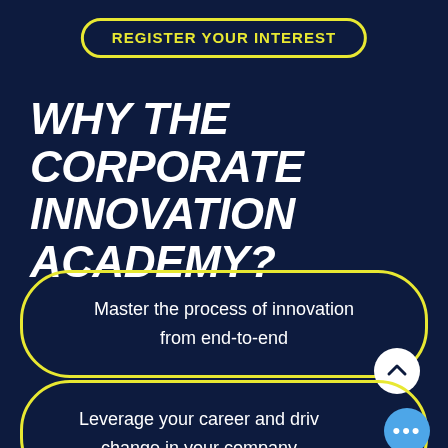REGISTER YOUR INTEREST
WHY THE CORPORATE INNOVATION ACADEMY?
Master the process of innovation from end-to-end
Leverage your career and drive change in your company